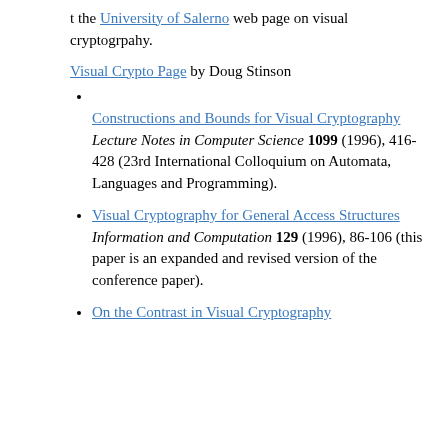t the University of Salerno web page on visual cryptogrpahy.
Visual Crypto Page by Doug Stinson
Constructions and Bounds for Visual Cryptography. Lecture Notes in Computer Science 1099 (1996), 416-428 (23rd International Colloquium on Automata, Languages and Programming).
Visual Cryptography for General Access Structures. Information and Computation 129 (1996), 86-106 (this paper is an expanded and revised version of the conference paper).
On the Contrast in Visual Cryptography